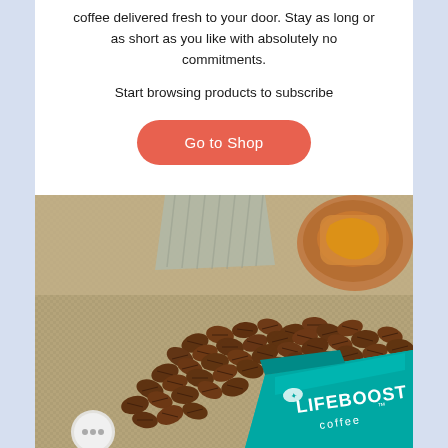coffee delivered fresh to your door. Stay as long or as short as you like with absolutely no commitments.
Start browsing products to subscribe
[Figure (infographic): Orange-red rounded button labeled 'Go to Shop' on white background]
[Figure (photo): Photo of coffee beans spilled on burlap fabric next to a teal Lifeboost Coffee branded bag, with a small plate of food in the upper right background]